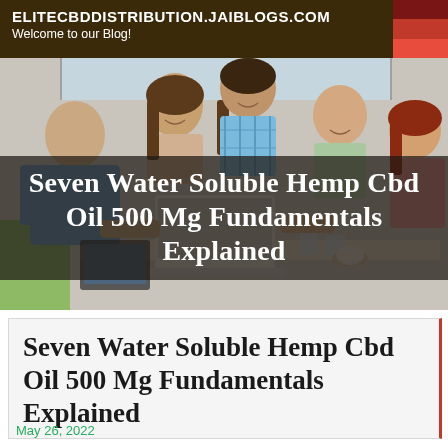ELITECBDDISTRIBUTION.JAIBLOGS.COM
Welcome to our Blog!
[Figure (photo): Group of young adults gathered around a laptop, smiling and looking at the screen together at a table with glasses and a coffee cup]
Seven Water Soluble Hemp Cbd Oil 500 Mg Fundamentals Explained
Seven Water Soluble Hemp Cbd Oil 500 Mg Fundamentals Explained
May 26, 2022